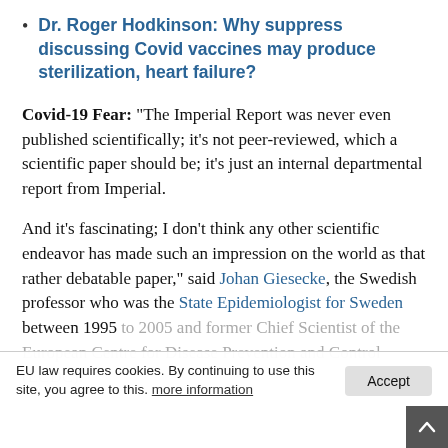Dr. Roger Hodkinson: Why suppress discussing Covid vaccines may produce sterilization, heart failure?
Covid-19 Fear: “The Imperial Report was never even published scientifically; it’s not peer-reviewed, which a scientific paper should be; it’s just an internal departmental report from Imperial.
And it’s fascinating; I don’t think any other scientific endeavor has made such an impression on the world as that rather debatable paper,” said Johan Giesecke, the Swedish professor who was the State Epidemiologist for Sweden between 1995 to 2005 and former Chief Scientist of the European Centre for Disease Prevention and Control (ECDC).